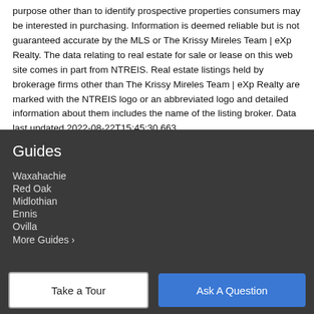purpose other than to identify prospective properties consumers may be interested in purchasing. Information is deemed reliable but is not guaranteed accurate by the MLS or The Krissy Mireles Team | eXp Realty. The data relating to real estate for sale or lease on this web site comes in part from NTREIS. Real estate listings held by brokerage firms other than The Krissy Mireles Team | eXp Realty are marked with the NTREIS logo or an abbreviated logo and detailed information about them includes the name of the listing broker. Data last updated 2022-08-22T15:45:30.663.
Guides
Waxahachie
Red Oak
Midlothian
Ennis
Ovilla
More Guides ›
Take a Tour
Ask A Question